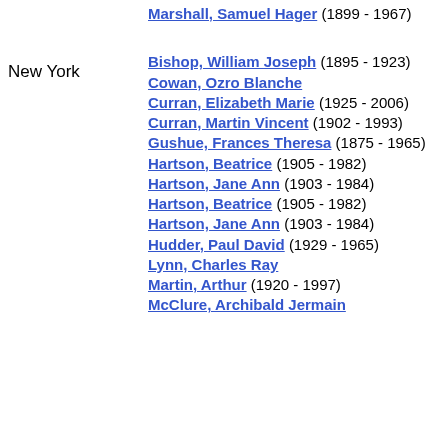Marshall, Samuel Hager (1899 - 1967)
New York
Bishop, William Joseph (1895 - 1923)
Cowan, Ozro Blanche
Curran, Elizabeth Marie (1925 - 2006)
Curran, Martin Vincent (1902 - 1993)
Gushue, Frances Theresa (1875 - 1965)
Hartson, Beatrice (1905 - 1982)
Hartson, Jane Ann (1903 - 1984)
Hartson, Beatrice (1905 - 1982)
Hartson, Jane Ann (1903 - 1984)
Hudder, Paul David (1929 - 1965)
Lynn, Charles Ray
Martin, Arthur (1920 - 1997)
McClure, Archibald Jermain